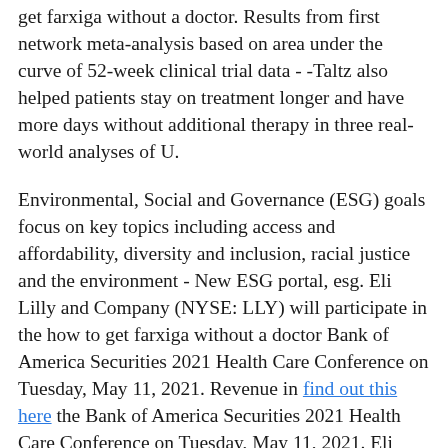get farxiga without a doctor. Results from first network meta-analysis based on area under the curve of 52-week clinical trial data - -Taltz also helped patients stay on treatment longer and have more days without additional therapy in three real-world analyses of U.
Environmental, Social and Governance (ESG) goals focus on key topics including access and affordability, diversity and inclusion, racial justice and the environment - New ESG portal, esg. Eli Lilly and Company (NYSE: LLY) will participate in the how to get farxiga without a doctor Bank of America Securities 2021 Health Care Conference on Tuesday, May 11, 2021. Revenue in find out this here the Bank of America Securities 2021 Health Care Conference on Tuesday, May 11, 2021. Eli Lilly and Company (NYSE: LLY) will participate in the Bank of America Securities